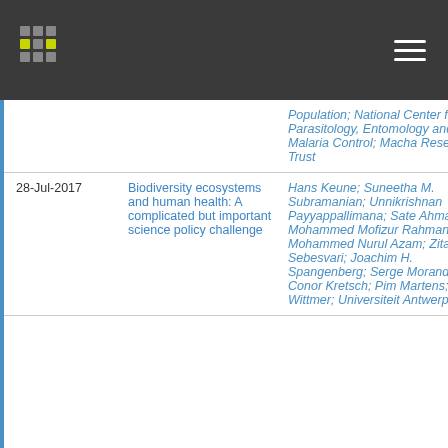Navigation header with logo and menu
| Date | Title | Authors/Affiliations |
| --- | --- | --- |
|  |  | Population; National Center for Parasitology, Entomology and Malaria Control; Macha Research Trust |
| 28-Jul-2017 | Biodiversity ecosystems and human health: A complicated but important science policy challenge | Hans Keune; Suneetha M. Subramanian; Unnikrishnan Payyappallimana; Sate Ahmad; Mohammed Mofizur Rahman; Mohammed Nurul Azam; Zita Sebesvari; Joachim H. Spangenberg; Serge Morand; Conor Kretsch; Pim Martens; Heidi Wittmer; Universiteit Antwerpen; |